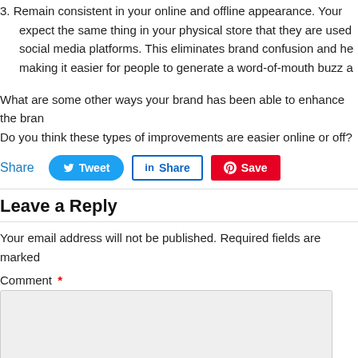3. Remain consistent in your online and offline appearance. Your expect the same thing in your physical store that they are used social media platforms. This eliminates brand confusion and he making it easier for people to generate a word-of-mouth buzz a
What are some other ways your brand has been able to enhance the bran Do you think these types of improvements are easier online or off?
Share  Tweet  Share  Save
Leave a Reply
Your email address will not be published. Required fields are marked
Comment *